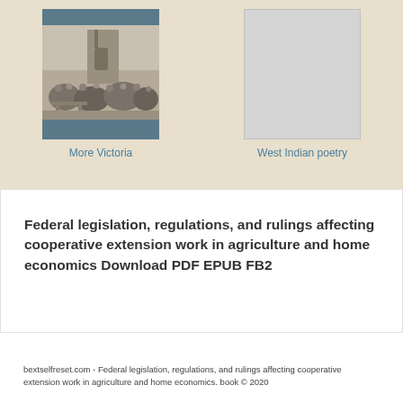[Figure (illustration): Book cover illustration for 'More Victoria' showing a historical engraving of a crowd scene with figures in period dress near a building]
More Victoria
[Figure (illustration): Blank/placeholder book cover for 'West Indian poetry']
West Indian poetry
Federal legislation, regulations, and rulings affecting cooperative extension work in agriculture and home economics Download PDF EPUB FB2
bextselfreset.com - Federal legislation, regulations, and rulings affecting cooperative extension work in agriculture and home economics. book © 2020